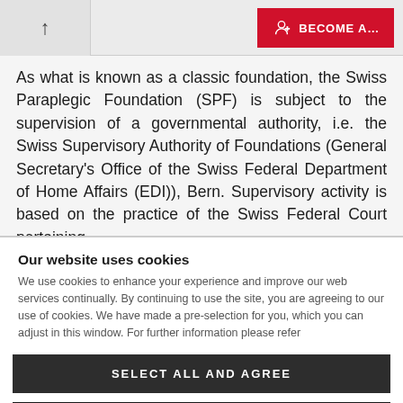↑  BECOME A…
As what is known as a classic foundation, the Swiss Paraplegic Foundation (SPF) is subject to the supervision of a governmental authority, i.e. the Swiss Supervisory Authority of Foundations (General Secretary's Office of the Swiss Federal Department of Home Affairs (EDI)), Bern. Supervisory activity is based on the practice of the Swiss Federal Court pertaining
Our website uses cookies
We use cookies to enhance your experience and improve our web services continually. By continuing to use the site, you are agreeing to our use of cookies. We have made a pre-selection for you, which you can adjust in this window. For further information please refer
SELECT ALL AND AGREE
Adjust selection and agree